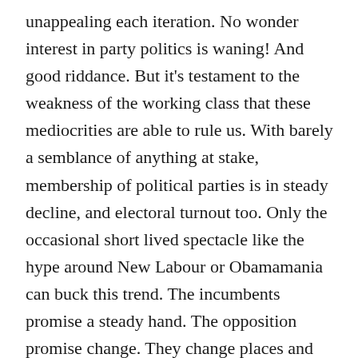unappealing each iteration. No wonder interest in party politics is waning! And good riddance. But it's testament to the weakness of the working class that these mediocrities are able to rule us. With barely a semblance of anything at stake, membership of political parties is in steady decline, and electoral turnout too. Only the occasional short lived spectacle like the hype around New Labour or Obamamania can buck this trend. The incumbents promise a steady hand. The opposition promise change. They change places and change promises. In the 2010 general election, every major party ran on a slogan of 'fairness',164 no doubt after some pollster discovered it was the value that really spoke to the fabled 'middle England'. In the past, revolutionaries had to make the case against parliament as the avenue for social change.